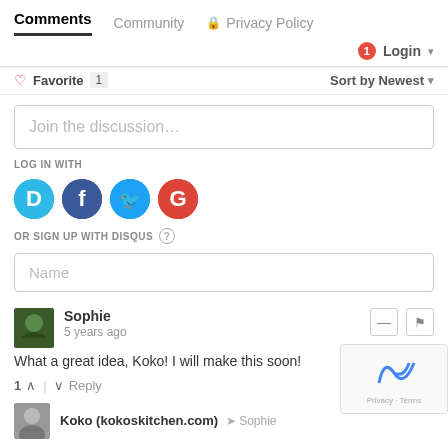Comments  Community  🔒 Privacy Policy
1  Login ▾
♡ Favorite  1    Sort by Newest ▾
Join the discussion...
LOG IN WITH
[Figure (logo): Social login icons: Disqus (D), Facebook (f), Twitter bird, Google (G)]
OR SIGN UP WITH DISQUS ?
Name
Sophie
5 years ago
What a great idea, Koko! I will make this soon!
1  ∧  |  ∨  Reply
Koko (kokoskitchen.com) ➤ Sophie